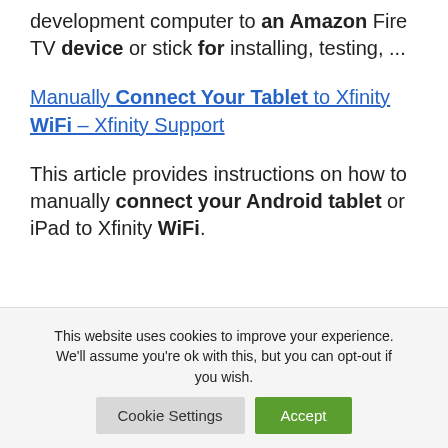development computer to an Amazon Fire TV device or stick for installing, testing, ...
Manually Connect Your Tablet to Xfinity WiFi – Xfinity Support
This article provides instructions on how to manually connect your Android tablet or iPad to Xfinity WiFi.
This website uses cookies to improve your experience. We'll assume you're ok with this, but you can opt-out if you wish.